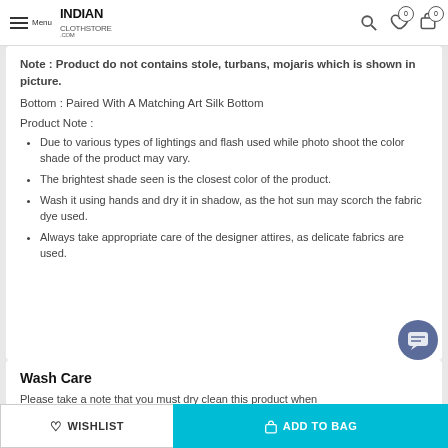Menu | INDIAN CLOTHSTORE.COM
Note : Product do not contains stole, turbans, mojaris which is shown in picture.
Bottom : Paired With A Matching Art Silk Bottom
Product Note :
Due to various types of lightings and flash used while photo shoot the color shade of the product may vary.
The brightest shade seen is the closest color of the product.
Wash it using hands and dry it in shadow, as the hot sun may scorch the fabric dye used.
Always take appropriate care of the designer attires, as delicate fabrics are used.
Wash Care
Please take a note that you must dry clean this product when you wash it for the first time.